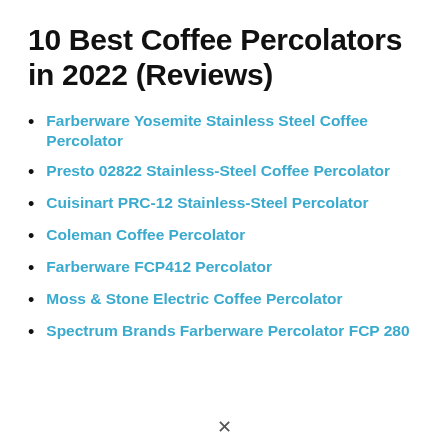10 Best Coffee Percolators in 2022 (Reviews)
Farberware Yosemite Stainless Steel Coffee Percolator
Presto 02822 Stainless-Steel Coffee Percolator
Cuisinart PRC-12 Stainless-Steel Percolator
Coleman Coffee Percolator
Farberware FCP412 Percolator
Moss & Stone Electric Coffee Percolator
Spectrum Brands Farberware Percolator FCP 280